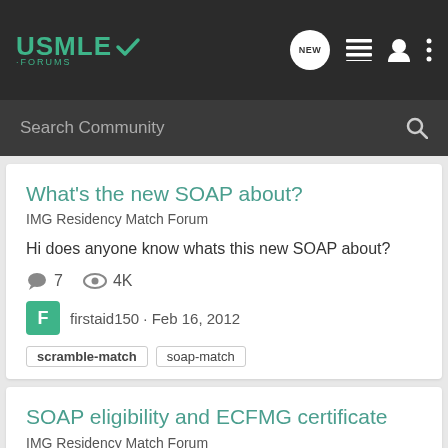USMLE Forums
What's the new SOAP about?
IMG Residency Match Forum
Hi does anyone know whats this new SOAP about?
7 comments · 4K views
firstaid150 · Feb 16, 2012
scramble-match
soap-match
SOAP eligibility and ECFMG certificate
IMG Residency Match Forum
Wanted to know, when is the last date you can be ecfmg certified to participate in soap, ???